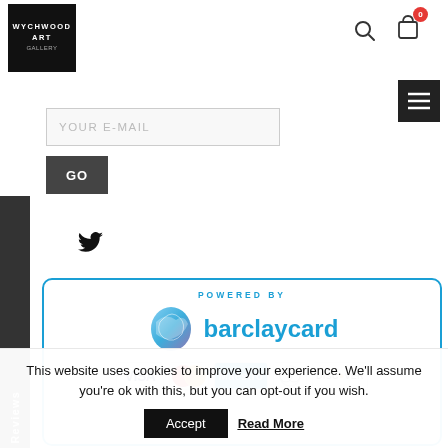[Figure (logo): Wychwood Art Gallery logo — white text on black square background]
[Figure (screenshot): Search icon (magnifying glass)]
[Figure (screenshot): Cart icon with badge showing 0]
[Figure (screenshot): Hamburger menu button (dark square with three lines)]
YOUR E-MAIL
GO
[Figure (logo): Twitter bird icon]
[Figure (logo): Feefo Reviews sidebar]
[Figure (logo): Powered by Barclaycard payment section with VISA, Mastercard, Maestro, Diners Club, Discover logos]
This website uses cookies to improve your experience. We'll assume you're ok with this, but you can opt-out if you wish.
Accept
Read More